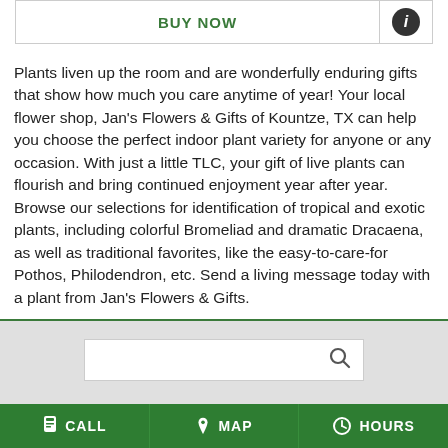[Figure (screenshot): BUY NOW button and info (i) icon button in a horizontal bar]
Plants liven up the room and are wonderfully enduring gifts that show how much you care anytime of year! Your local flower shop, Jan's Flowers & Gifts of Kountze, TX can help you choose the perfect indoor plant variety for anyone or any occasion. With just a little TLC, your gift of live plants can flourish and bring continued enjoyment year after year. Browse our selections for identification of tropical and exotic plants, including colorful Bromeliad and dramatic Dracaena, as well as traditional favorites, like the easy-to-care-for Pothos, Philodendron, etc. Send a living message today with a plant from Jan's Flowers & Gifts.
[Figure (screenshot): Search bar with magnifying glass icon on gray background]
FLOWER DELIVERY TO KOUNTZE, TX
CALL  MAP  HOURS